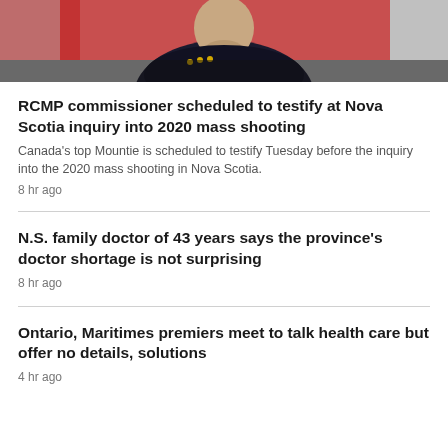[Figure (photo): Cropped photo of a person in a dark uniform with gold insignia, in front of a red background, showing only the upper torso and partial face/chin area.]
RCMP commissioner scheduled to testify at Nova Scotia inquiry into 2020 mass shooting
Canada's top Mountie is scheduled to testify Tuesday before the inquiry into the 2020 mass shooting in Nova Scotia.
8 hr ago
N.S. family doctor of 43 years says the province's doctor shortage is not surprising
8 hr ago
Ontario, Maritimes premiers meet to talk health care but offer no details, solutions
4 hr ago